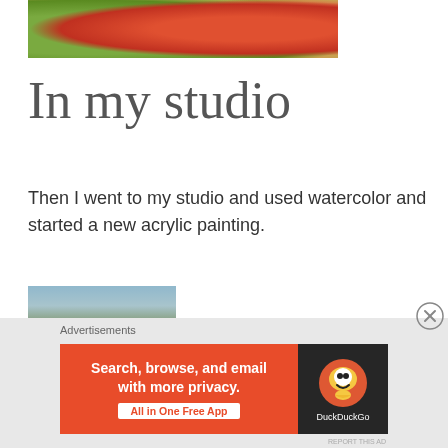[Figure (photo): Partial photo of food — avocado/herb topping on toast and red tomatoes]
In my studio
Then I went to my studio and used watercolor and started a new acrylic painting.
[Figure (photo): Studio interior photo showing a window, wooden surface, paint tin, and art supplies]
Advertisements
[Figure (screenshot): DuckDuckGo advertisement banner: 'Search, browse, and email with more privacy. All in One Free App' with DuckDuckGo duck logo on dark background]